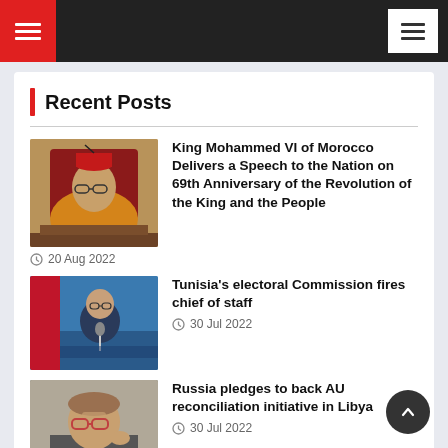Navigation bar with hamburger menus
Recent Posts
[Figure (photo): King Mohammed VI of Morocco seated in official robes]
King Mohammed VI of Morocco Delivers a Speech to the Nation on 69th Anniversary of the Revolution of the King and the People
20 Aug 2022
[Figure (photo): Tunisian official speaking at podium with flag in background]
Tunisia's electoral Commission fires chief of staff
30 Jul 2022
[Figure (photo): Russian official with glasses rubbing his eyes]
Russia pledges to back AU reconciliation initiative in Libya
30 Jul 2022